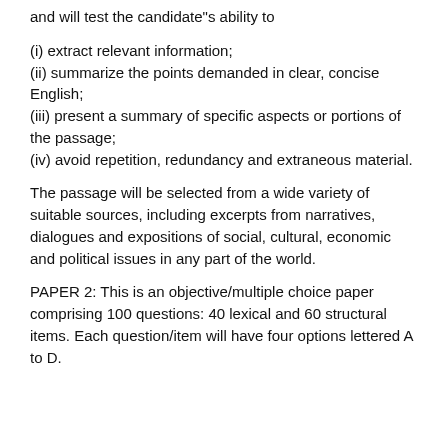and will test the candidate"s ability to
(i) extract relevant information;
(ii) summarize the points demanded in clear, concise English;
(iii) present a summary of specific aspects or portions of the passage;
(iv) avoid repetition, redundancy and extraneous material.
The passage will be selected from a wide variety of suitable sources, including excerpts from narratives, dialogues and expositions of social, cultural, economic and political issues in any part of the world.
PAPER 2: This is an objective/multiple choice paper comprising 100 questions: 40 lexical and 60 structural items. Each question/item will have four options lettered A to D.